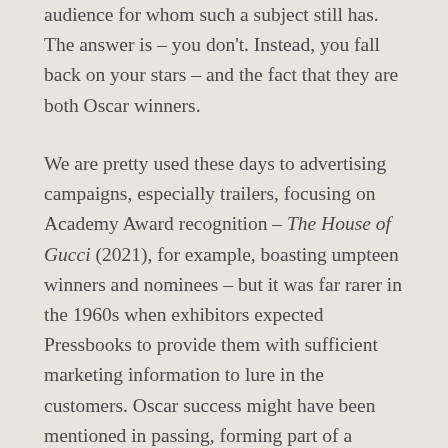audience for whom such a subject still has. The answer is – you don't. Instead, you fall back on your stars – and the fact that they are both Oscar winners.
We are pretty used these days to advertising campaigns, especially trailers, focusing on Academy Award recognition – The House of Gucci (2021), for example, boasting umpteen winners and nominees – but it was far rarer in the 1960s when exhibitors expected Pressbooks to provide them with sufficient marketing information to lure in the customers. Oscar success might have been mentioned in passing, forming part of a participant's biography, but it would not be the entire focal point of the campaign.
The 16-page A3 Pressbook for The Slender Thread does nothing but. There was, of course, a link between the